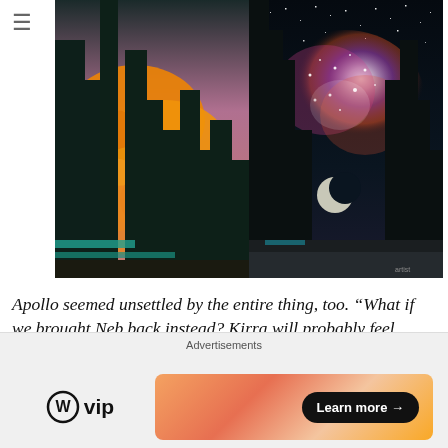≡
[Figure (illustration): Digital artwork split into two halves: left half shows an orange sunset cityscape with dark silhouetted skyscrapers and glowing orange clouds; right half shows a night cityscape with a galaxy nebula and stars over dark silhouetted buildings with a crescent moon.]
Apollo seemed unsettled by the entire thing, too. "What if we brought Neb back instead? Kirra will probably feel better if Neb comes back."
Advertisements
[Figure (logo): WordPress VIP logo with circular W icon followed by 'vip' text]
[Figure (infographic): Orange gradient advertisement banner with a 'Learn more →' button]